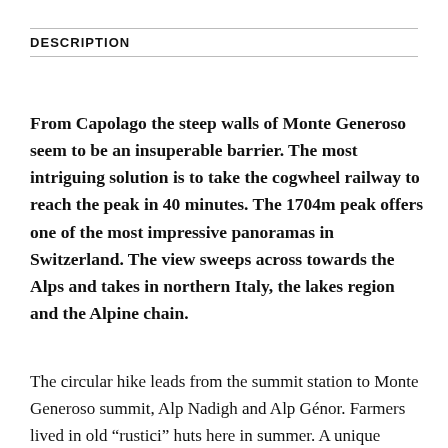DESCRIPTION
From Capolago the steep walls of Monte Generoso seem to be an insuperable barrier. The most intriguing solution is to take the cogwheel railway to reach the peak in 40 minutes. The 1704m peak offers one of the most impressive panoramas in Switzerland. The view sweeps across towards the Alps and takes in northern Italy, the lakes region and the Alpine chain.
The circular hike leads from the summit station to Monte Generoso summit, Alp Nadigh and Alp Génor. Farmers lived in old “rustici” huts here in summer. A unique feature of Monte Generoso is the presence of